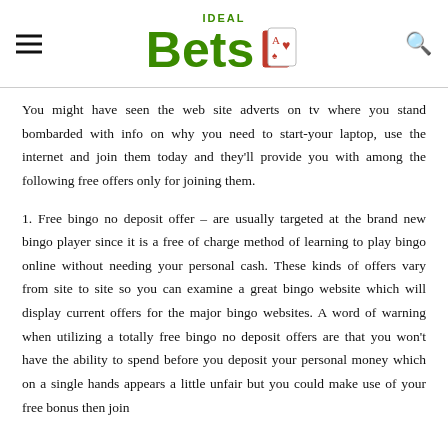Ideal Bets [logo with cards]
You might have seen the web site adverts on tv where you stand bombarded with info on why you need to start-your laptop, use the internet and join them today and they'll provide you with among the following free offers only for joining them.
1. Free bingo no deposit offer – are usually targeted at the brand new bingo player since it is a free of charge method of learning to play bingo online without needing your personal cash. These kinds of offers vary from site to site so you can examine a great bingo website which will display current offers for the major bingo websites. A word of warning when utilizing a totally free bingo no deposit offers are that you won't have the ability to spend before you deposit your personal money which on a single hands appears a little unfair but you could make use of your free bonus then join another bingo website.